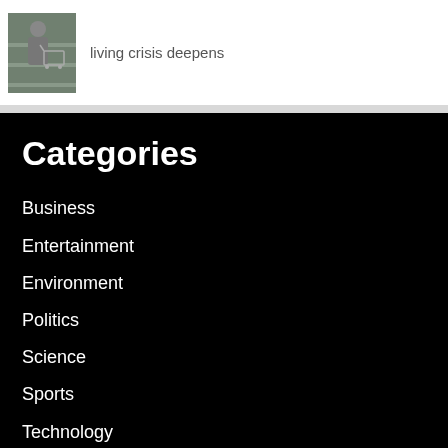[Figure (photo): Person with shopping cart in a store aisle]
living crisis deepens
Categories
Business
Entertainment
Environment
Politics
Science
Sports
Technology